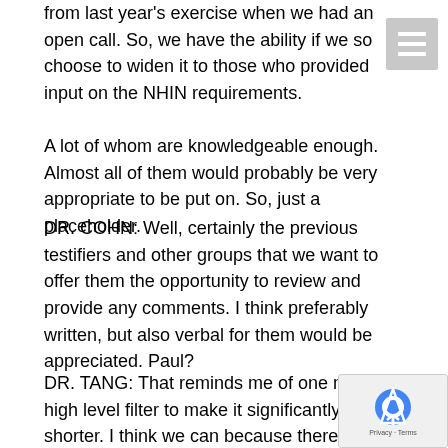from last year's exercise when we had an open call. So, we have the ability if we so choose to widen it to those who provided input on the NHIN requirements. A lot of whom are knowledgeable enough. Almost all of them would probably be very appropriate to be put on. So, just a placeholder.
DR. COHN: Well, certainly the previous testifiers and other groups that we want to offer them the opportunity to review and provide any comments. I think preferably written, but also verbal for them would be appreciated. Paul?
DR. TANG: That reminds me of one more high level filter to make it significantly shorter. I think we can because there is a